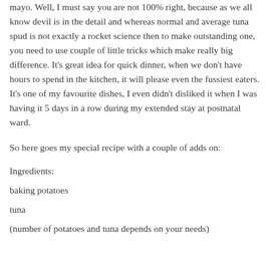mayo. Well, I must say you are not 100% right, because as we all know devil is in the detail and whereas normal and average tuna spud is not exactly a rocket science then to make outstanding one, you need to use couple of little tricks which make really big difference. It's great idea for quick dinner, when we don't have hours to spend in the kitchen, it will please even the fussiest eaters. It's one of my favourite dishes, I even didn't disliked it when I was having it 5 days in a row during my extended stay at postnatal ward.
So here goes my special recipe with a couple of adds on:
Ingredients:
baking potatoes
tuna
(number of potatoes and tuna depends on your needs)